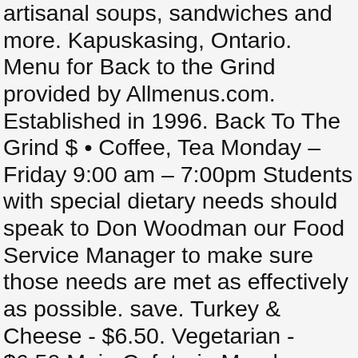artisanal soups, sandwiches and more. Kapuskasing, Ontario. Menu for Back to the Grind provided by Allmenus.com. Established in 1996. Back To The Grind $ • Coffee, Tea Monday – Friday 9:00 am – 7:00pm Students with special dietary needs should speak to Don Woodman our Food Service Manager to make sure those needs are met as effectively as possible. save. Turkey & Cheese - $6.50. Vegetarian - $6.50 Main Cafeteria Monday – Friday 9:00 am – 7:00pm Saturday-Sunday 11:00am – 6:00pm Holiday's/Reading Weeks 11:00am-6:00pm. Getting thirsty? * Selections in green are served or can be served as vegetarian. Then either find Back to the Grind on the streets or book 'em for your next event. Spurs grind away, but still fall short San Antonio fight back from 18 down before Luka and Co finish them off to win by 5, 122-117 By Jon Hollenbeck @KingpinFlynn Jan 23, 2021, 4:00am CST Tel: (705) 335-2770 About us. Read reviews from Back To The Grind at 3575 University Ave in Downtown Riverside